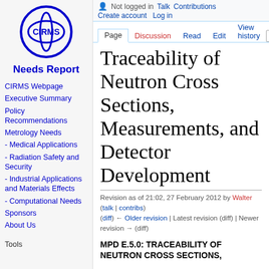[Figure (logo): CIRMS circular logo with letters CIRMS in blue]
Needs Report
CIRMS Webpage
Executive Summary
Policy Recommendations
Metrology Needs
- Medical Applications
- Radiation Safety and Security
- Industrial Applications and Materials Effects
- Computational Needs
Sponsors
About Us
Not logged in  Talk  Contributions  Create account  Log in
Page  Discussion  Read  Edit  View history  Search
Traceability of Neutron Cross Sections, Measurements, and Detector Development
Revision as of 21:02, 27 February 2012 by Walter (talk | contribs)
(diff) ← Older revision | Latest revision (diff) | Newer revision → (diff)
MPD E.5.0: TRACEABILITY OF NEUTRON CROSS SECTIONS,
Tools